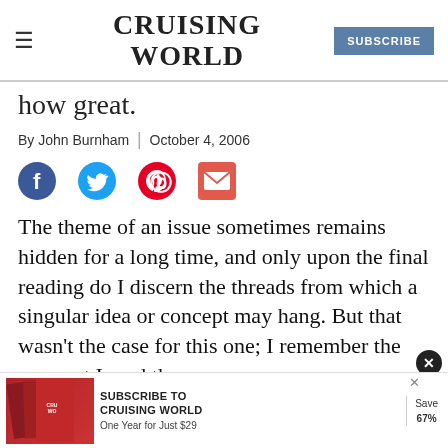CRUISING WORLD | SUBSCRIBE
how great.
By John Burnham | October 4, 2006
[Figure (infographic): Social share icons: Facebook (blue circle), Twitter (blue bird), Pinterest (red circle with P), Email (red envelope)]
The theme of an issue sometimes remains hidden for a long time, and only upon the final reading do I discern the threads from which a singular idea or concept may hang. But that wasn't the case for this one; I remember the moment I read the lines [partially obscured] Chil[partially obscured]e
[Figure (infographic): Advertisement banner: SUBSCRIBE TO CRUISING WORLD - One Year for Just $29 - Save 67%]